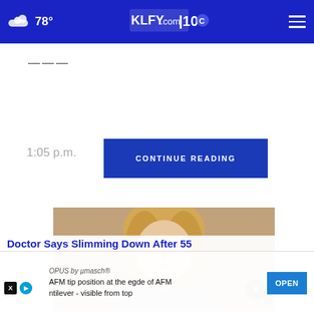78° — KLFY.com 10
———
1:05 p.m.
CONTINUE READING
[Figure (photo): Woman with blonde hair speaking, appears to be in an interview or broadcast setting]
×
OPUS by µmasch® AFM tip position at the egde of AFM ntilever - visible from top
OPEN
Doctor Says Slimming Down After 55